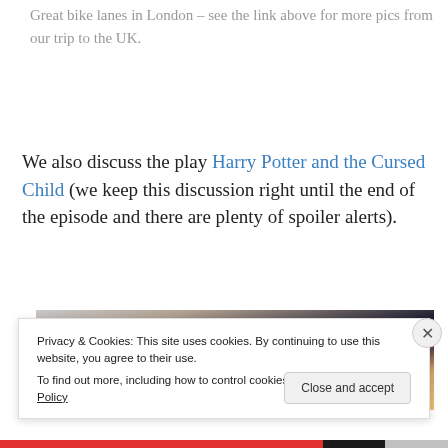Great bike lanes in London – see the link above for more pics from our trip to the UK.
We also discuss the play Harry Potter and the Cursed Child (we keep this discussion right until the end of the episode and there are plenty of spoiler alerts).
[Figure (photo): Partial view of a building exterior, possibly a street scene in London, showing architectural details with dark and warm tones.]
Privacy & Cookies: This site uses cookies. By continuing to use this website, you agree to their use.
To find out more, including how to control cookies, see here: Cookie Policy
Close and accept